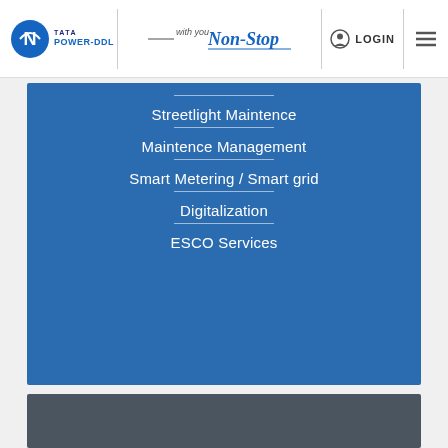[Figure (logo): Tata Power-DDL logo with blue circular icon and company name text]
[Figure (logo): With you Non-Stop tagline in stylized text]
LOGIN
Streetlight Maintence
Maintence Management
Smart Metering / Smart grid
Digitalization
ESCO Services